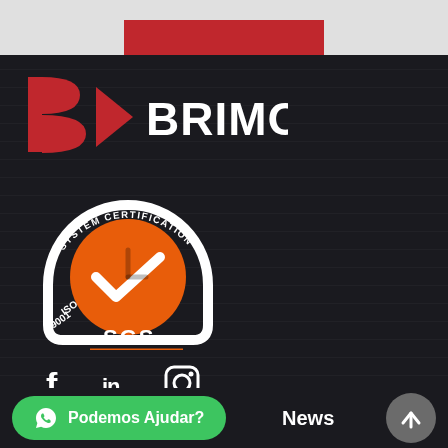[Figure (logo): Red rectangular block at top center, part of a webpage header]
[Figure (logo): Brimont company logo: stylized red B icon and white BRIMONT wordmark on dark background]
[Figure (logo): SGS ISO 9001 System Certification badge with orange circle and white checkmark]
[Figure (other): Social media icons: Facebook (f), LinkedIn (in), Instagram (camera/circle icon) in white on dark background]
Podemos Ajudar?
News